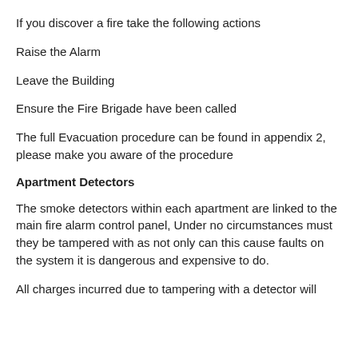If you discover a fire take the following actions
Raise the Alarm
Leave the Building
Ensure the Fire Brigade have been called
The full Evacuation procedure can be found in appendix 2, please make you aware of the procedure
Apartment Detectors
The smoke detectors within each apartment are linked to the main fire alarm control panel, Under no circumstances must they be tampered with as not only can this cause faults on the system it is dangerous and expensive to do.
All charges incurred due to tampering with a detector will